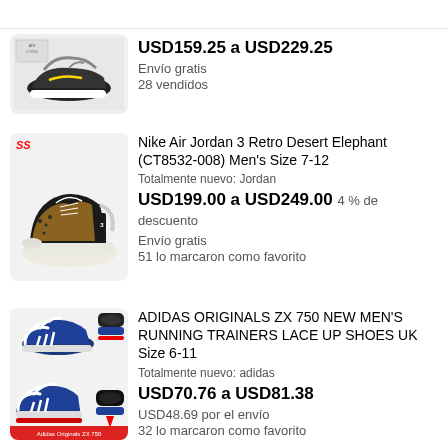[Figure (photo): Nike Air Jordan sneakers - black/grey colorway, shown from side angle with box]
USD159.25 a USD229.25
Envío gratis
28 vendidos
[Figure (photo): Nike Air Jordan 3 Retro Desert Elephant sneaker - black/brown/tan colorway]
Nike Air Jordan 3 Retro Desert Elephant (CT8532-008) Men's Size 7-12
Totalmente nuevo: Jordan
USD199.00 a USD249.00   4 % de descuento
Envío gratis
51 lo marcaron como favorito
[Figure (photo): Adidas Originals ZX 750 running trainers - blue/red/black colorway, multiple views]
ADIDAS ORIGINALS ZX 750 NEW MEN'S RUNNING TRAINERS LACE UP SHOES UK Size 6-11
Totalmente nuevo: adidas
USD70.76 a USD81.38
USD48.69 por el envío
32 lo marcaron como favorito